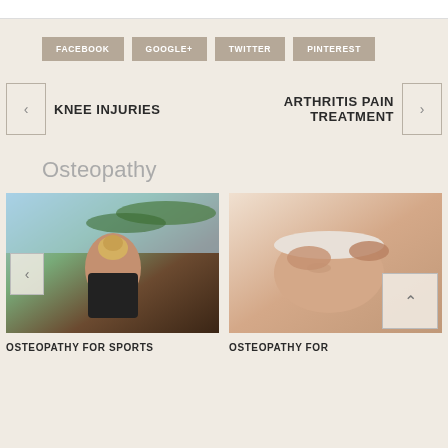[Figure (screenshot): Top white bar portion of page]
FACEBOOK
GOOGLE+
TWITTER
PINTEREST
KNEE INJURIES
ARTHRITIS PAIN TREATMENT
Osteopathy
[Figure (photo): Woman in black sports bra viewed from behind outdoors with palm trees]
[Figure (photo): Woman receiving facial/head massage treatment, eyes closed, white headband]
OSTEOPATHY FOR SPORTS
OSTEOPATHY FOR